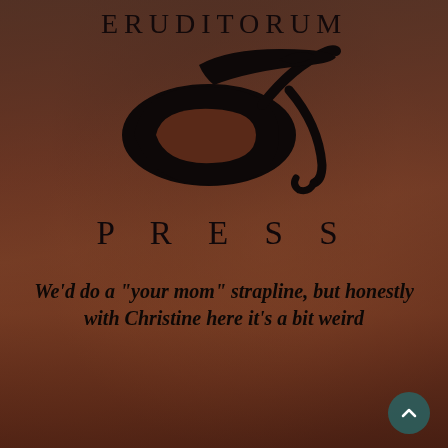ERUDITORUM
[Figure (logo): Eruditorum Press stylized 'EP' calligraphic logo in black on dark reddish-brown background]
PRESS
We'd do a "your mom" strapline, but honestly with Christine here it's a bit weird